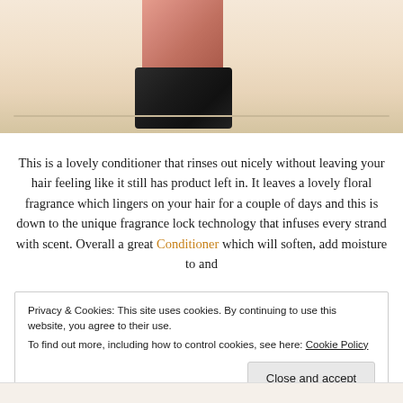[Figure (photo): A cosmetic product jar with a pink/salmon-colored cap and a black cylindrical base sitting on a white shelf surface against a warm beige background.]
This is a lovely conditioner that rinses out nicely without leaving your hair feeling like it still has product left in. It leaves a lovely floral fragrance which lingers on your hair for a couple of days and this is down to the unique fragrance lock technology that infuses every strand with scent. Overall a great Conditioner which will soften, add moisture to and
Privacy & Cookies: This site uses cookies. By continuing to use this website, you agree to their use.
To find out more, including how to control cookies, see here: Cookie Policy
Close and accept